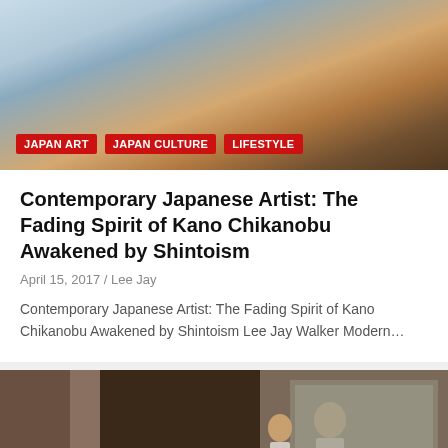[Figure (photo): Top artwork/painting image with sky and figures in pinkish-blue and earthy tones]
JAPAN ART
JAPAN CULTURE
LIFESTYLE
Contemporary Japanese Artist: The Fading Spirit of Kano Chikanobu Awakened by Shintoism
April 15, 2017 / Lee Jay
Contemporary Japanese Artist: The Fading Spirit of Kano Chikanobu Awakened by Shintoism Lee Jay Walker Modern…
[Figure (photo): Interior scene with wooden church pews in the foreground and two men standing in the background, with paintings on the wall]